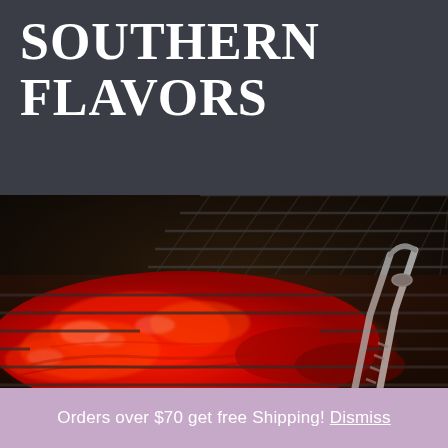SOUTHERN FLAVORS
[Figure (photo): Close-up photo of glazed BBQ meat (chicken or pork) covered in red/orange sauce on dark grill grates, with tongs visible on the right side]
Orders over $70 get free Shipping! Dismiss